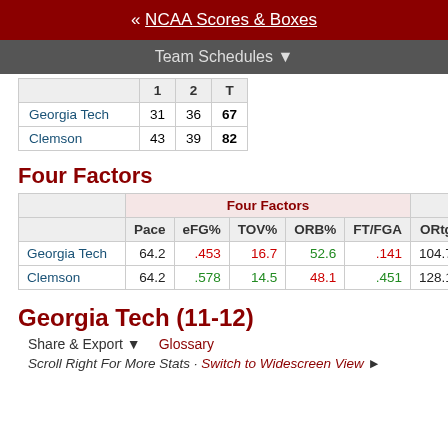« NCAA Scores & Boxes
Team Schedules ▼
|  | 1 | 2 | T |
| --- | --- | --- | --- |
| Georgia Tech | 31 | 36 | 67 |
| Clemson | 43 | 39 | 82 |
Four Factors
|  | Four Factors |  |  |  |  |  |
| --- | --- | --- | --- | --- | --- | --- |
|  | Pace | eFG% | TOV% | ORB% | FT/FGA | ORtg |
| Georgia Tech | 64.2 | .453 | 16.7 | 52.6 | .141 | 104.7 |
| Clemson | 64.2 | .578 | 14.5 | 48.1 | .451 | 128.1 |
Georgia Tech (11-12)
Share & Export ▼   Glossary
Scroll Right For More Stats · Switch to Widescreen View ►